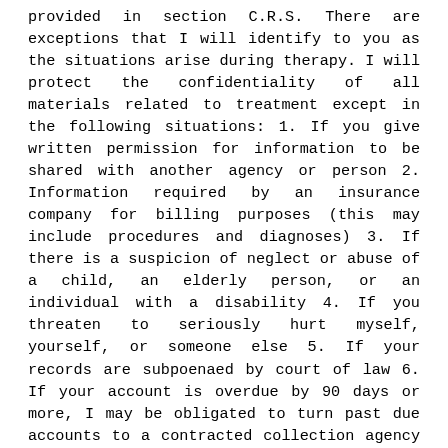provided in section C.R.S. There are exceptions that I will identify to you as the situations arise during therapy. I will protect the confidentiality of all materials related to treatment except in the following situations: 1. If you give written permission for information to be shared with another agency or person 2. Information required by an insurance company for billing purposes (this may include procedures and diagnoses) 3. If there is a suspicion of neglect or abuse of a child, an elderly person, or an individual with a disability 4. If you threaten to seriously hurt myself, yourself, or someone else 5. If your records are subpoenaed by court of law 6. If your account is overdue by 90 days or more, I may be obligated to turn past due accounts to a contracted collection agency or seek collection with a civil court action. Additionally, I share an office with Dr. Elizabeth Hooks. We consult on cases, share office resources and filing space, and may provide holiday coverage for each other. In signing this document, you are acknowledging your understanding of this professional relationship and authorize me to release information to and/or obtain information from Dr. Hooks. I may occasionally find it helpful to consult other